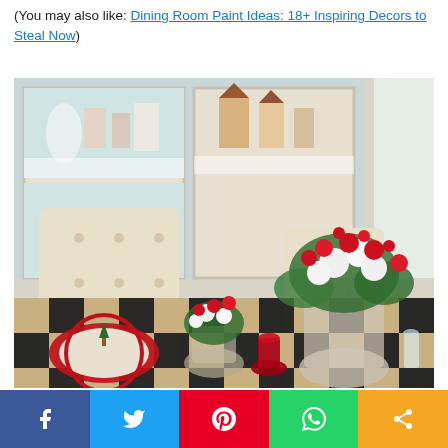(You may also like: Dining Room Paint Ideas: 18+ Inspiring Decors to Steal Now)
[Figure (photo): Christmas-decorated dining room with black and white buffalo check tablecloth, cream tufted chairs, floral arrangements of red and white flowers, holiday village display in white cabinet in background]
[Figure (infographic): Social media sharing bar with Facebook, Twitter, Pinterest, WhatsApp, and Share buttons]